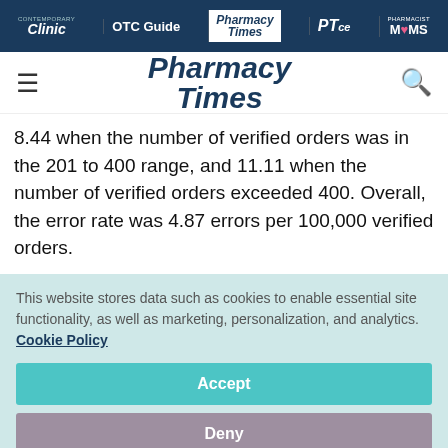Clinic | OTC Guide | Pharmacy Times | PTce | Pharmacist MOMS
[Figure (logo): Pharmacy Times logo with hamburger menu and search icon]
8.44 when the number of verified orders was in the 201 to 400 range, and 11.11 when the number of verified orders exceeded 400. Overall, the error rate was 4.87 errors per 100,000 verified orders.
This website stores data such as cookies to enable essential site functionality, as well as marketing, personalization, and analytics. Cookie Policy
Accept
Deny